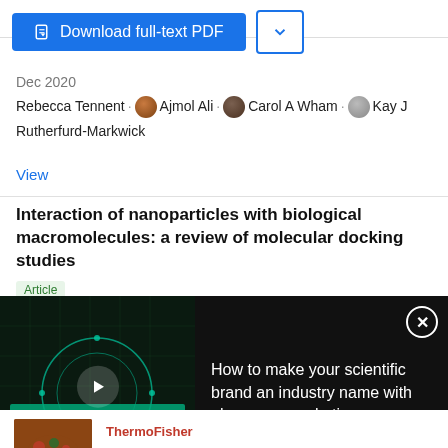[Figure (screenshot): Download full-text PDF button (blue) and dropdown arrow button]
Dec 2020
Rebecca Tennent · Ajmol Ali · Carol A Wham · Kay J Rutherfurd-Markwick
View
Interaction of nanoparticles with biological macromolecules: a review of molecular docking studies
[Figure (screenshot): Video ad overlay: How to make your scientific brand an industry name with always-on marketing]
[Figure (screenshot): Thermo Fisher Scientific advertisement: More than a matter of taste]